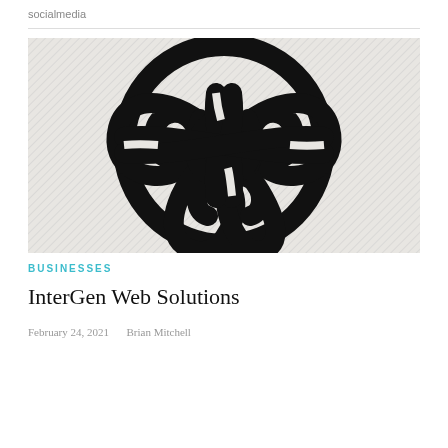socialmedia
[Figure (illustration): A bold black Celtic knot / interlaced pattern on a light hatched/grey background, circular overall shape composed of four interlocking triquetra-like loops arranged symmetrically.]
BUSINESSES
InterGen Web Solutions
February 24, 2021   Brian Mitchell